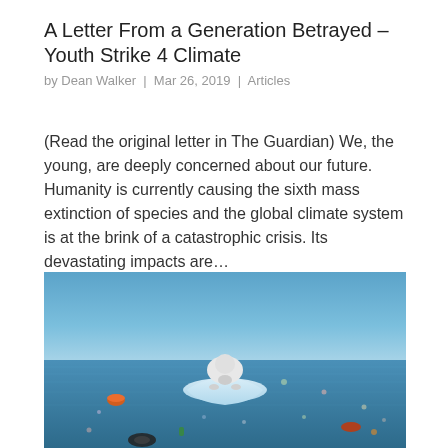A Letter From a Generation Betrayed – Youth Strike 4 Climate
by Dean Walker | Mar 26, 2019 | Articles
(Read the original letter in The Guardian) We, the young, are deeply concerned about our future. Humanity is currently causing the sixth mass extinction of species and the global climate system is at the brink of a catastrophic crisis. Its devastating impacts are…
[Figure (photo): A polar bear figure crouched on a small melting iceberg surrounded by polluted ocean water with floating debris including plastic bottles, tires, and trash.]